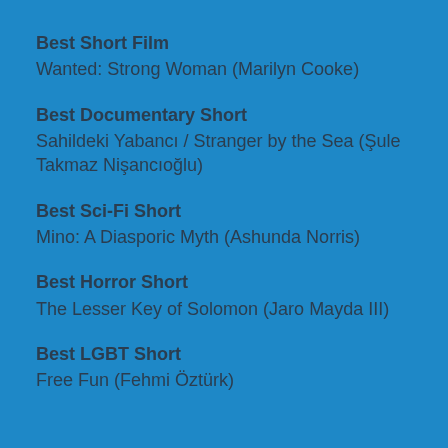Best Short Film
Wanted: Strong Woman (Marilyn Cooke)
Best Documentary Short
Sahildeki Yabancı / Stranger by the Sea (Şule Takmaz Nişancıoğlu)
Best Sci-Fi Short
Mino: A Diasporic Myth (Ashunda Norris)
Best Horror Short
The Lesser Key of Solomon (Jaro Mayda III)
Best LGBT Short
Free Fun (Fehmi Öztürk)